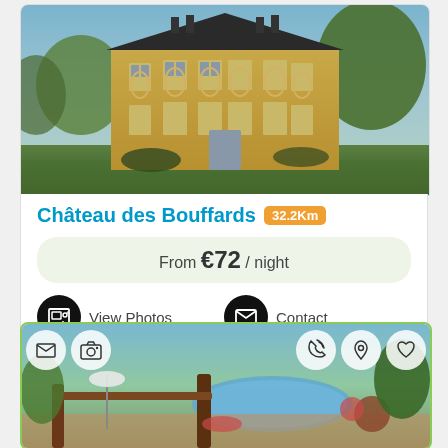[Figure (photo): Exterior photo of Château des Bouffards, a yellow French château building with dark roof, surrounded by green lawn and trees]
Château des Bouffards 32.2Km
From €72 / night
View Photos
Contact
[Figure (photo): Photo of a property with a swimming pool, terrace with wooden railing, patio furniture, and lush garden, with icon bar showing mail, camera, phone, location, and heart icons]